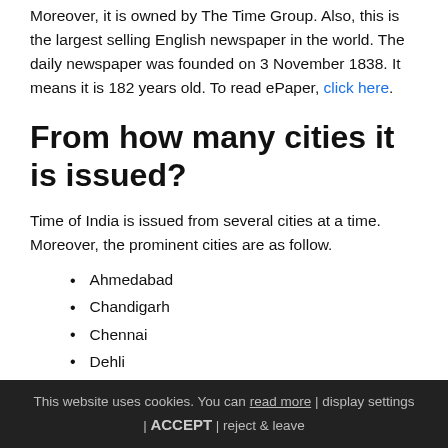Moreover, it is owned by The Time Group. Also, this is the largest selling English newspaper in the world. The daily newspaper was founded on 3 November 1838. It means it is 182 years old. To read ePaper, click here.
From how many cities it is issued?
Time of India is issued from several cities at a time. Moreover, the prominent cities are as follow.
Ahmedabad
Chandigarh
Chennai
Dehli
Goa
Jaipur
Kolkata
Mumbai
This website uses cookies. You can read more | display settings | ACCEPT | reject & leave